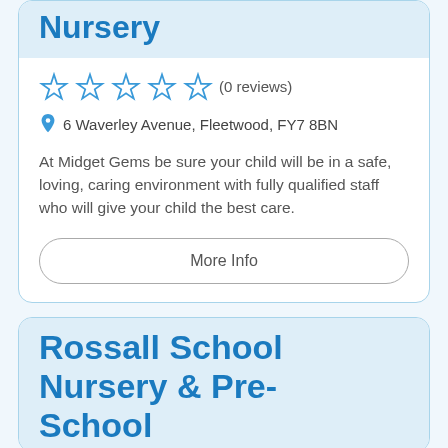Nursery
(0 reviews)
6 Waverley Avenue, Fleetwood, FY7 8BN
At Midget Gems be sure your child will be in a safe, loving, caring environment with fully qualified staff who will give your child the best care.
More Info
Rossall School Nursery & Pre-School